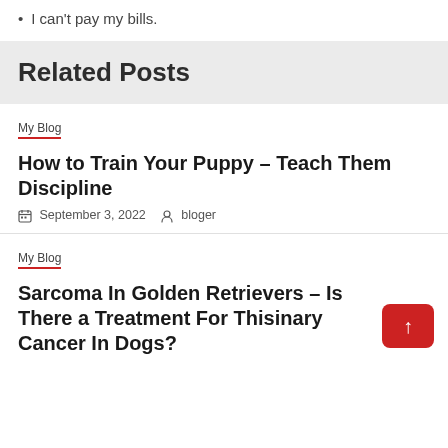I can't pay my bills.
Related Posts
My Blog
How to Train Your Puppy – Teach Them Discipline
September 3, 2022   bloger
My Blog
Sarcoma In Golden Retrievers – Is There a Treatment For Thisinary Cancer In Dogs?